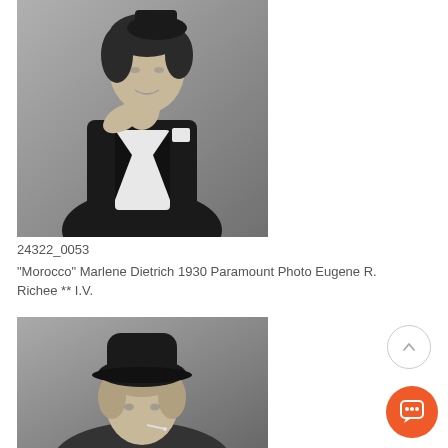[Figure (photo): Black and white photograph of Marlene Dietrich in tuxedo, head tilted back, hand at throat]
24322_0053
"Morocco" Marlene Dietrich 1930 Paramount Photo Eugene R. Richee ** I.V.
[Figure (photo): Black and white photograph of Marlene Dietrich wearing a bowler hat and smoking a cigarette]